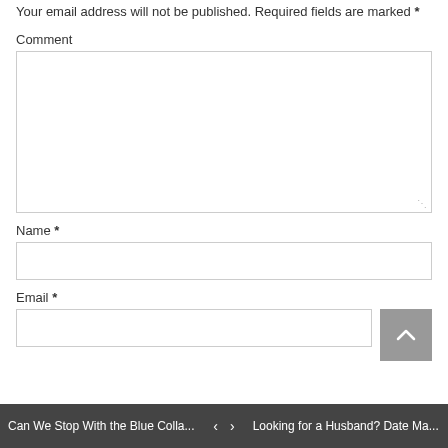Your email address will not be published. Required fields are marked *
Comment
Name *
Email *
Can We Stop With the Blue Colla... < > Looking for a Husband? Date Ma...